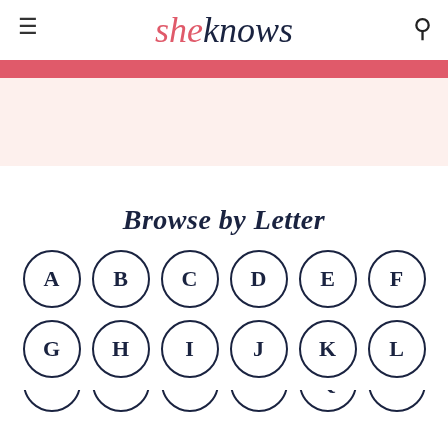sheknows
Browse by Letter
[Figure (infographic): Alphabet letter browser with circular letter buttons: A B C D E F in row 1, G H I J K L in row 2, partial third row visible at bottom]